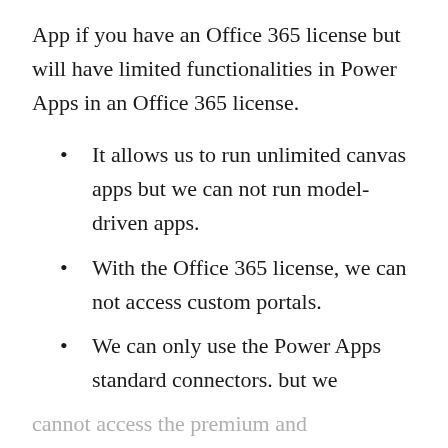App if you have an Office 365 license but will have limited functionalities in Power Apps in an Office 365 license.
It allows us to run unlimited canvas apps but we can not run model-driven apps.
With the Office 365 license, we can not access custom portals.
We can only use the Power Apps standard connectors. but we cannot access the premium and